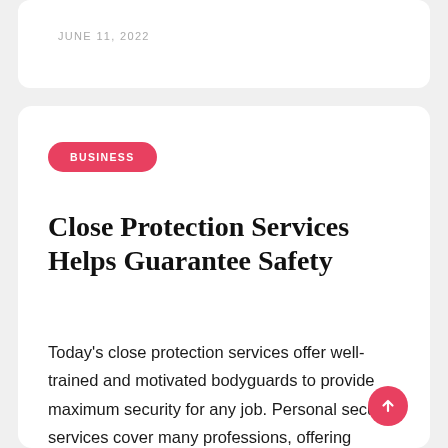JUNE 11, 2022
BUSINESS
Close Protection Services Helps Guarantee Safety
Today's close protection services offer well-trained and motivated bodyguards to provide maximum security for any job. Personal security services cover many professions, offering protection to many clients. Such clients include influential business people, VIPs, celebrities, diplomatic figures, members of the royal family, and sports figures. However, these services are not limited to